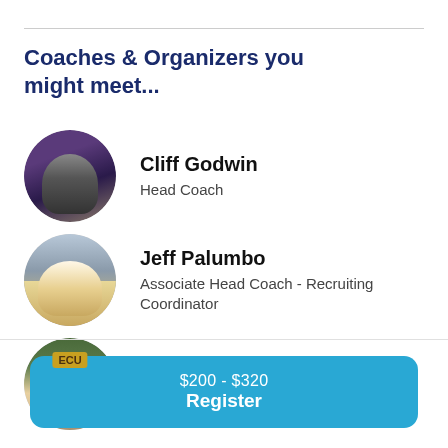Coaches & Organizers you might meet...
[Figure (photo): Circular headshot of Cliff Godwin on a baseball field with purple stadium background]
Cliff Godwin
Head Coach
[Figure (photo): Circular headshot of Jeff Palumbo on a baseball field]
Jeff Palumbo
Associate Head Coach - Recruiting Coordinator
[Figure (photo): Circular headshot of Austin Knight wearing an ECU cap]
Austin Knight
Assistant Coach - Pitching coach
$200 - $320
Register